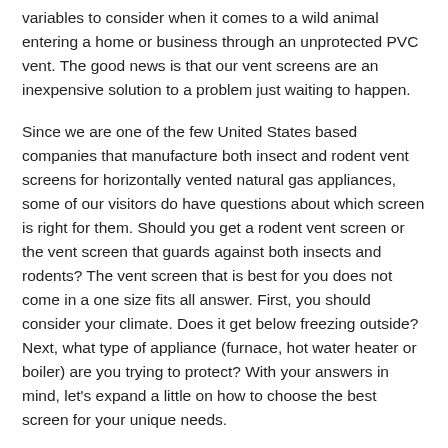variables to consider when it comes to a wild animal entering a home or business through an unprotected PVC vent. The good news is that our vent screens are an inexpensive solution to a problem just waiting to happen.
Since we are one of the few United States based companies that manufacture both insect and rodent vent screens for horizontally vented natural gas appliances, some of our visitors do have questions about which screen is right for them. Should you get a rodent vent screen or the vent screen that guards against both insects and rodents? The vent screen that is best for you does not come in a one size fits all answer. First, you should consider your climate. Does it get below freezing outside? Next, what type of appliance (furnace, hot water heater or boiler) are you trying to protect? With your answers in mind, let's expand a little on how to choose the best screen for your unique needs.
High efficiency furnaces utilize a two-stage burn process that creates condensation, which creates an exhaust gas that is discharged out of the exhaust vent as moist air. If it is very cold outside, and well below freezing, you don't want to use a fine wire mesh (close squares) screen. A fine mesh screen makes it easier for snow and ice to accumulate on, which may prevent the appliance from breathing. If ice does cause a blockage, your furnace may go into lockout mode and stop operating until the